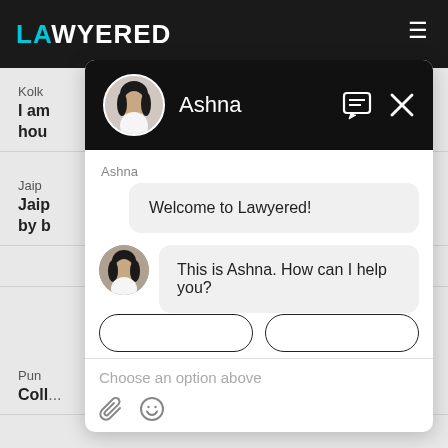[Figure (screenshot): Lawyered website with dark navigation bar containing the Lawyered logo in teal/white text and a hamburger menu icon on the right. Background shows lawyer listing rows partially visible. Overlaid by a chat widget popup.]
Kolk
I am
hou
Jaip
Jaip
by b
ave
Pun
Coll...
Ashna
Welcome to Lawyered!
This is Ashna. How can I help you?
Choose an option above